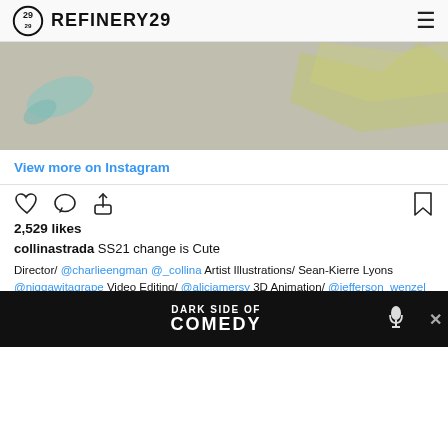REFINERY29
[Figure (photo): Blurred image with teal and yellow-green abstract shapes on a gray background, partial view of an Instagram post image]
View more on Instagram
[Figure (infographic): Instagram action icons: heart, comment bubble, share arrow, and bookmark]
2,529 likes
collinastrada SS21 change is Cute
Director/ @charlieengman @_collina Artist Illustrations/ Sean-Kierre Lyons @niggawitagrape Video Editing/ @aliciamersy 3D Animation/ @jefferson_wenzel Styling/ @charlieengman @sasha_melnychuk Make Up/ @alliesmithmakeup @glossier Wigs/ @tomikono_wig Hair Styling/ @chika_nishiyama Original Soundtrack/ @angel__emoji Production/ @bar... Produ... @ape... ting
[Figure (screenshot): Dark Side of Comedy advertisement banner overlay at the bottom of the screen]